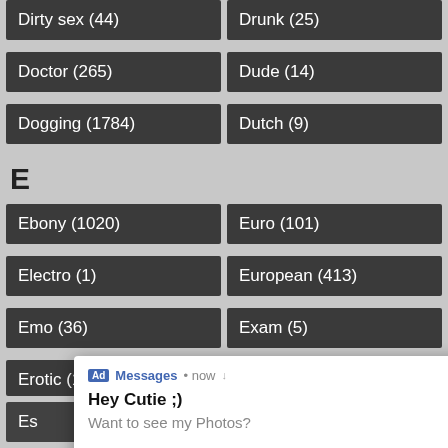Dirty sex (44)
Drunk (25)
Doctor (265)
Dude (14)
Dogging (1784)
Dutch (9)
E
Ebony (1020)
Euro (101)
Electro (1)
European (413)
Emo (36)
Exam (5)
Erotic (1535)
Exotic (4587)
Es...
F
Face fuck (29)
First Time (406)
Face sitting (12)
First sex (107)